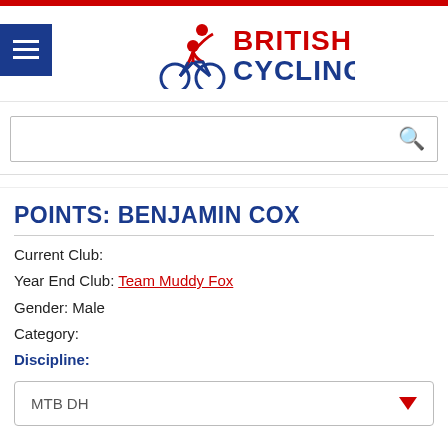[Figure (logo): British Cycling logo with cyclist silhouette and text 'BRITISH CYCLING' in red and navy blue]
POINTS: BENJAMIN COX
Current Club:
Year End Club: Team Muddy Fox
Gender: Male
Category:
Discipline:
MTB DH